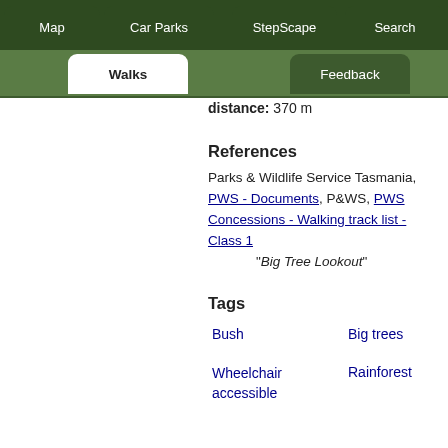Map | Car Parks | StepScape | Search | Walks | Feedback
distance: 370 m
References
Parks & Wildlife Service Tasmania, PWS - Documents, P&WS, PWS Concessions - Walking track list - Class 1 "Big Tree Lookout"
Tags
Bush
Big trees
Wheelchair accessible
Rainforest